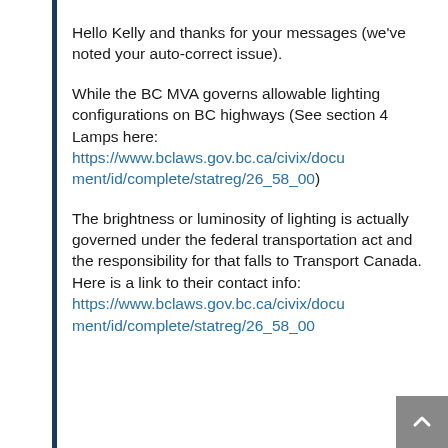Hello Kelly and thanks for your messages (we've noted your auto-correct issue).
While the BC MVA governs allowable lighting configurations on BC highways (See section 4 Lamps here: https://www.bclaws.gov.bc.ca/civix/document/id/complete/statreg/26_58_00)
The brightness or luminosity of lighting is actually governed under the federal transportation act and the responsibility for that falls to Transport Canada. Here is a link to their contact info: https://www.bclaws.gov.bc.ca/civix/document/id/complete/statreg/26_58_00